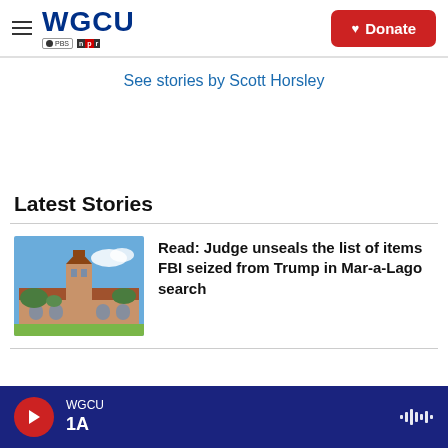WGCU PBS NPR | Donate
See stories by Scott Horsley
Latest Stories
[Figure (photo): Photo of Mar-a-Lago building with tower and palm trees against blue sky]
Read: Judge unseals the list of items FBI seized from Trump in Mar-a-Lago search
WGCU 1A